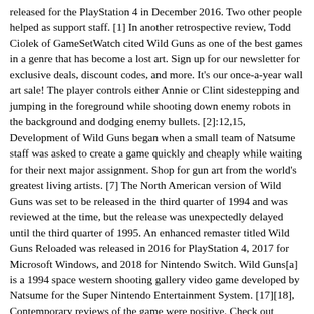released for the PlayStation 4 in December 2016. Two other people helped as support staff. [1] In another retrospective review, Todd Ciolek of GameSetWatch cited Wild Guns as one of the best games in a genre that has become a lost art. Sign up for our newsletter for exclusive deals, discount codes, and more. It's our once-a-year wall art sale! The player controls either Annie or Clint sidestepping and jumping in the foreground while shooting down enemy robots in the background and dodging enemy bullets. [2]:12,15, Development of Wild Guns began when a small team of Natsume staff was asked to create a game quickly and cheaply while waiting for their next major assignment. Shop for gun art from the world's greatest living artists. [7] The North American version of Wild Guns was set to be released in the third quarter of 1994 and was reviewed at the time, but the release was unexpectedly delayed until the third quarter of 1995. An enhanced remaster titled Wild Guns Reloaded was released in 2016 for PlayStation 4, 2017 for Microsoft Windows, and 2018 for Nintendo Switch. Wild Guns[a] is a 1994 space western shooting gallery video game developed by Natsume for the Super Nintendo Entertainment System. [17][18], Contemporary reviews of the game were positive. Check out inspiring examples of wildguns artwork on DeviantArt, and get inspired by our community of talented artists. Reloaded features two new characters, additional stages and modes, and updated visuals and audio. Status update. The game's scenery, characters, and sound design drew ideas from the Western film genre and the science fiction genre. Subsequent retrospective settings [3]